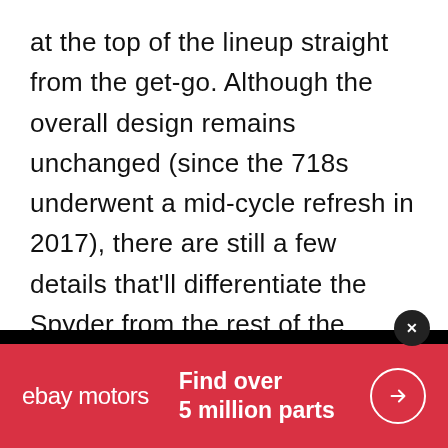at the top of the lineup straight from the get-go. Although the overall design remains unchanged (since the 718s underwent a mid-cycle refresh in 2017), there are still a few details that'll differentiate the Spyder from the rest of the lineup, and I'm not talking about the soft top. As the performance model of the lineup, the Boxster Spyder will sport a unique rear diffuser, more aggressive air inlets, and Michelin Pilot Sport Cup 2
[Figure (other): eBay Motors advertisement banner with red background, eBay motors logo in white, tagline 'Find over 5 million parts', and a circular arrow button]